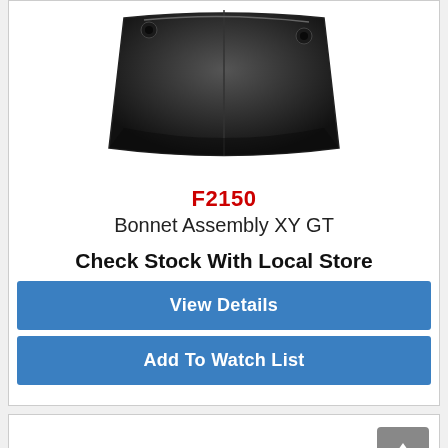[Figure (photo): Black bonnet assembly part viewed from below, showing mounting holes and panel seams]
F2150
Bonnet Assembly XY GT
Check Stock With Local Store
View Details
Add To Watch List
[Figure (photo): Partial view of grey/silver flat automotive panels or trim pieces]